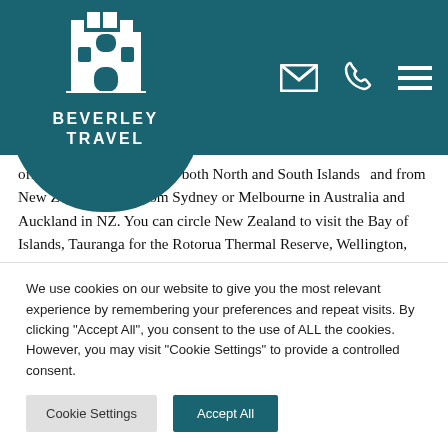Beverley Travel — navigation header with logo, email, phone, and menu icons
offers to circumnavigate both North and South Islands and from New Zealand leave from Sydney or Melbourne in Australia and Auckland in NZ. You can circle New Zealand to visit the Bay of Islands, Tauranga for the Rotorua Thermal Reserve, Wellington, Christchurch and Milford Sound, the undisputed jewel of Fiordland National Park. These cruises will often call at Tasmania for its mountains, forests and wildlife.
We use cookies on our website to give you the most relevant experience by remembering your preferences and repeat visits. By clicking "Accept All", you consent to the use of ALL the cookies. However, you may visit "Cookie Settings" to provide a controlled consent.